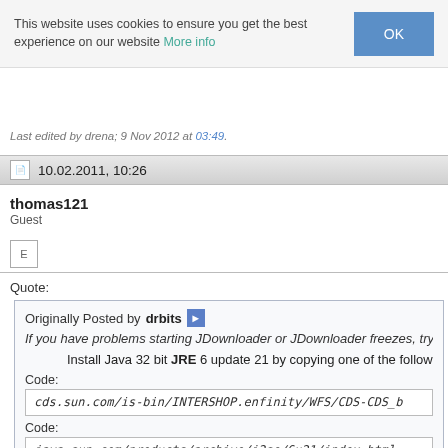This website uses cookies to ensure you get the best experience on our website More info OK
Last edited by drena; 9 Nov 2012 at 03:49.
10.02.2011, 10:26
thomas121
Guest
Quote:
Originally Posted by drbits
If you have problems starting JDownloader or JDownloader freezes, try
• Install Java 32 bit JRE 6 update 21 by copying one of the follow
Code:
cds.sun.com/is-bin/INTERSHOP.enfinity/WFS/CDS-CDS_b
Code:
java.sun.com/products/archive/j2se/6u21/index.html
(Sixth box down on the page)